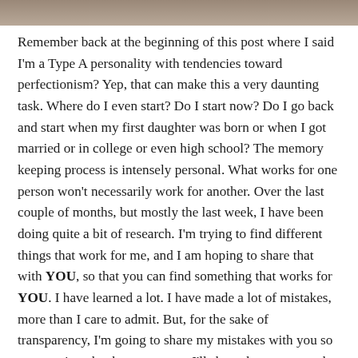[Figure (photo): Partial image strip at the top of the page, appears to be a cropped photo]
Remember back at the beginning of this post where I said I'm a Type A personality with tendencies toward perfectionism? Yep, that can make this a very daunting task. Where do I even start? Do I start now? Do I go back and start when my first daughter was born or when I got married or in college or even high school? The memory keeping process is intensely personal. What works for one person won't necessarily work for another. Over the last couple of months, but mostly the last week, I have been doing quite a bit of research. I'm trying to find different things that work for me, and I am hoping to share that with YOU, so that you can find something that works for YOU. I have learned a lot. I have made a lot of mistakes, more than I care to admit. But, for the sake of transparency, I'm going to share my mistakes with you so you won't make the same ones. I'll share the processes that I have decided to use. I'll share the